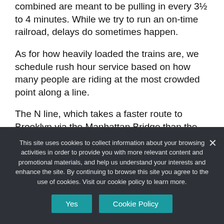combined are meant to be pulling in every 3½ to 4 minutes. While we try to run an on-time railroad, delays do sometimes happen.
As for how heavily loaded the trains are, we schedule rush hour service based on how many people are riding at the most crowded point along a line.
The N line, which takes a faster route to Brooklyn via the Manhattan Bridge than the R, picks up most of its Brooklyn-bound riders
This site uses cookies to collect information about your browsing activities in order to provide you with more relevant content and promotional materials, and help us understand your interests and enhance the site. By continuing to browse this site you agree to the use of cookies. Visit our cookie policy to learn more.